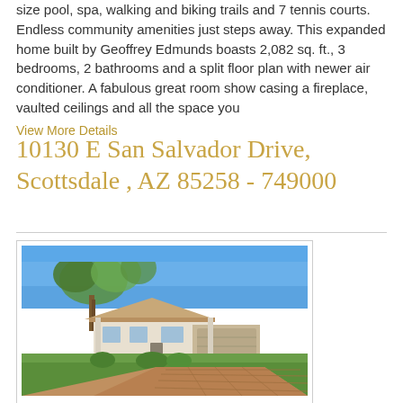size pool, spa, walking and biking trails and 7 tennis courts. Endless community amenities just steps away. This expanded home built by Geoffrey Edmunds boasts 2,082 sq. ft., 3 bedrooms, 2 bathrooms and a split floor plan with newer air conditioner. A fabulous great room show casing a fireplace, vaulted ceilings and all the space you
View More Details
10130 E San Salvador Drive, Scottsdale , AZ 85258 - 749000
[Figure (photo): Exterior photo of a single-story home with tile roof, two-car garage, large tree in front yard, green lawn, and brick paver driveway under blue sky.]